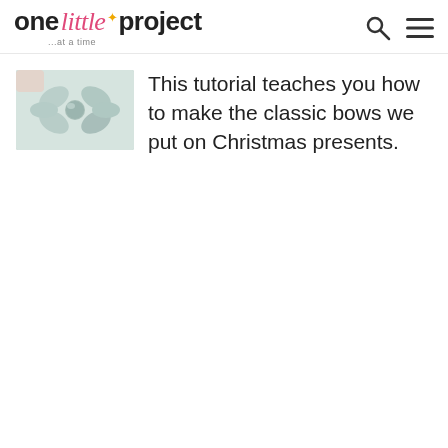one little project ...at a time
[Figure (photo): A light mint/sage green paper bow for Christmas presents, photographed close-up against a white background.]
This tutorial teaches you how to make the classic bows we put on Christmas presents.